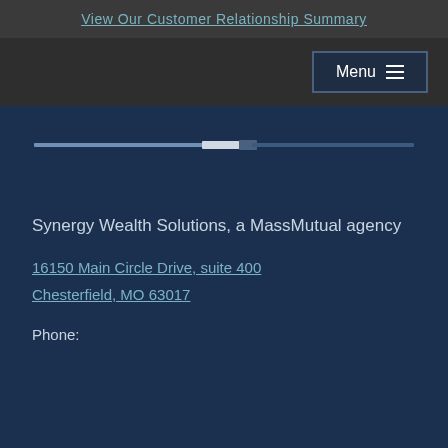View Our Customer Relationship Summary
[Figure (logo): Synergy Wealth Solutions / MassMutual logo graphic with horizontal bar design]
Synergy Wealth Solutions, a MassMutual agency
16150 Main Circle Drive, suite 400
Chesterfield, MO 63017
Phone: